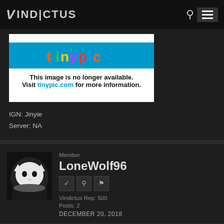VINDICTUS
[Figure (screenshot): Tinypic unavailable image placeholder with colorful logo and text: This image is no longer available. Visit tinypic.com for more information.]
IGN: Jinyie
Server: NA
Member
LoneWolf96
Vindictus Rep: 500
Posts: 2
DECEMBER 20, 2018
Server: EU
IGN: HUN_David